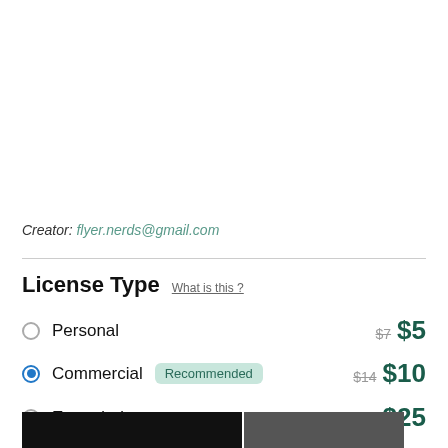Creator: flyer.nerds@gmail.com
License Type   What is this ?
Personal  $7  $5
Commercial  Recommended  $14  $10
Extended  $35  $25